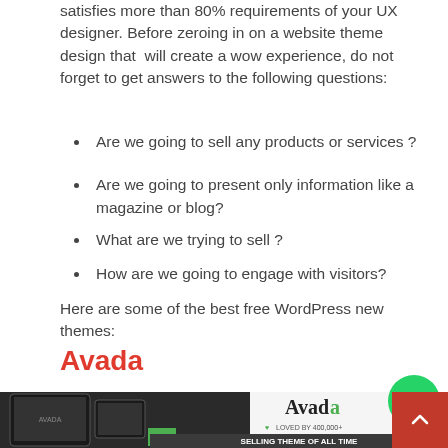satisfies more than 80% requirements of your UX designer. Before zeroing in on a website theme design that will create a wow experience, do not forget to get answers to the following questions:
Are we going to sell any products or services ?
Are we going to present only information like a magazine or blog?
What are we trying to sell ?
How are we going to engage with visitors?
Here are some of the best free WordPress new themes:
Avada
[Figure (screenshot): Screenshot of the Avada WordPress theme promotional image showing tablet and phone mockups with the Avada logo, a green heart icon, text 'LOVED BY 400,000+' and a banner 'SELLING THEME OF ALL TIME' with a #1 badge]